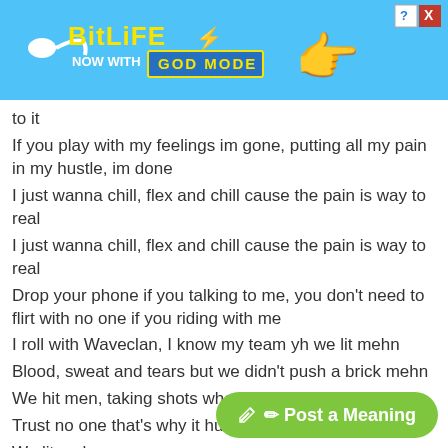[Figure (screenshot): BitLife advertisement banner with blue background, sperm logo, yellow 'BitLife' text, 'NOW WITH GOD MODE' badge, pointing hand illustration, help and close buttons.]
to it
If you play with my feelings im gone, putting all my pain in my hustle, im done
I just wanna chill, flex and chill cause the pain is way to real
I just wanna chill, flex and chill cause the pain is way to real
Drop your phone if you talking to me, you don't need to flirt with no one if you riding with me
I roll with Waveclan, I know my team yh we lit mehn
Blood, sweat and tears but we didn't push a brick mehn
We hit men, taking shots when spit mehn
Trust no one that's why it hurts when I speak mehn
We lit mehn
That's why I take it to head it never gets to the chest, the feeling it never last
But I just wanna chill and flex, nev
No phone calls no text
[Figure (screenshot): Green 'Post a Meaning' button with pencil icon]